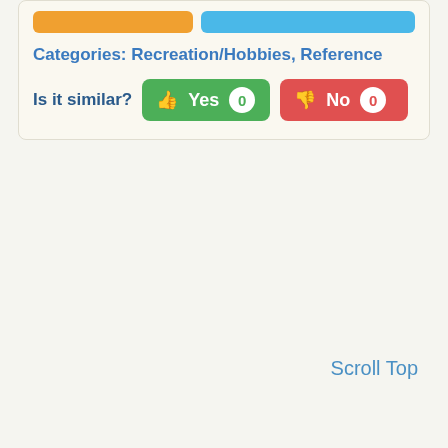Categories: Recreation/Hobbies, Reference
Is it similar?  Yes 0  No 0
Scroll Top